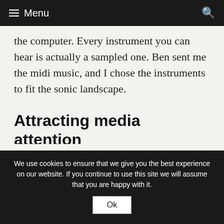≡ Menu
the computer. Every instrument you can hear is actually a sampled one. Ben sent me the midi music, and I chose the instruments to fit the sonic landscape.
Attracting media attention
Maggie's work had been attracting the attention of BBC Radio York, and they'd already aired some of the tracks we'd
We use cookies to ensure that we give you the best experience on our website. If you continue to use this site we will assume that you are happy with it.